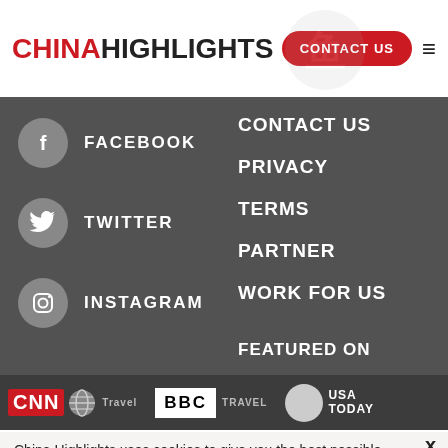CHINAHIGHLIGHTS — CONTACT US
FACEBOOK
TWITTER
INSTAGRAM
CONTACT US
PRIVACY
TERMS
PARTNER
WORK FOR US
FEATURED ON
[Figure (logo): CNN Travel logo]
[Figure (logo): BBC Travel logo]
[Figure (logo): USA TODAY logo]
China Highlights uses cookies to give you the best possible service. If you continue browsing, you agree to the use of cookies. More details can be found in our privacy policy.